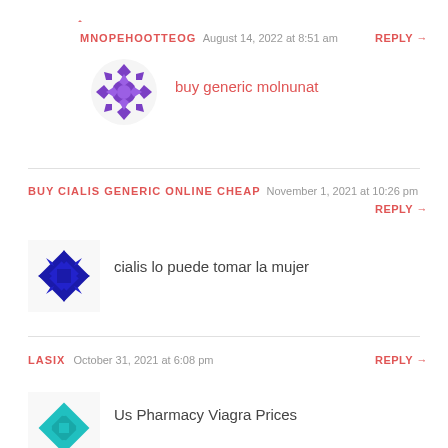[Figure (illustration): Purple decorative avatar icon (circular, snowflake/mandala pattern) partially visible at top]
MNOPEHOOTTEOG  August 14, 2022 at 8:51 am  REPLY →
[Figure (illustration): Purple decorative avatar icon (circular snowflake/mandala pattern)]
buy generic molnunat
BUY CIALIS GENERIC ONLINE CHEAP  November 1, 2021 at 10:26 pm  REPLY →
[Figure (illustration): Dark blue square mandala/geometric avatar icon]
cialis lo puede tomar la mujer
LASIX  October 31, 2021 at 6:08 pm  REPLY →
[Figure (illustration): Teal/cyan geometric avatar icon partially visible at bottom]
Us Pharmacy Viagra Prices